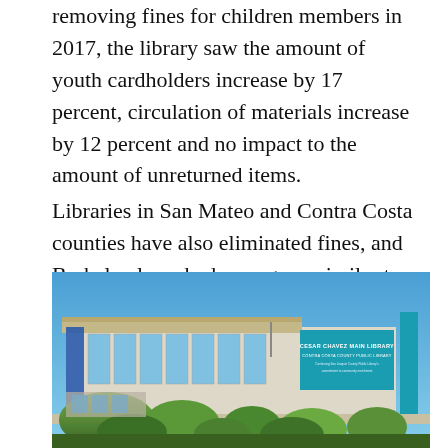removing fines for children members in 2017, the library saw the amount of youth cardholders increase by 17 percent, circulation of materials increase by 12 percent and no impact to the amount of unreturned items.
Libraries in San Mateo and Contra Costa counties have also eliminated fines, and Berkeley launched a program similar to Oakland's last July.
[Figure (photo): Exterior photo of the Cesar Chavez Main Library, Contra Costa County Public Library. A modern building with large glass windows, a flat overhanging roof, and a prominent teal/blue sign on the right side of the facade. Trees and shrubs are visible in the foreground under a blue sky.]